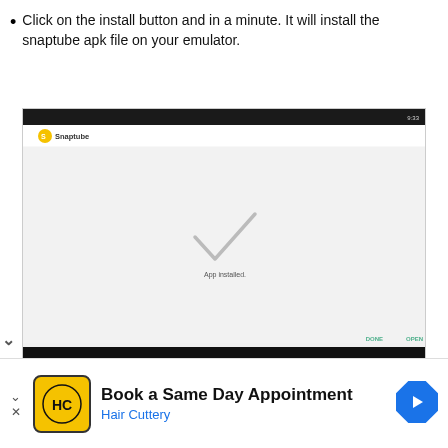Click on the install button and in a minute. It will install the snaptube apk file on your emulator.
[Figure (screenshot): Android emulator screenshot showing Snaptube app installed screen with checkmark and 'App installed.' text, navigation bar at bottom]
[Figure (infographic): Advertisement for Hair Cuttery: 'Book a Same Day Appointment' with HC logo and navigation arrow icon]